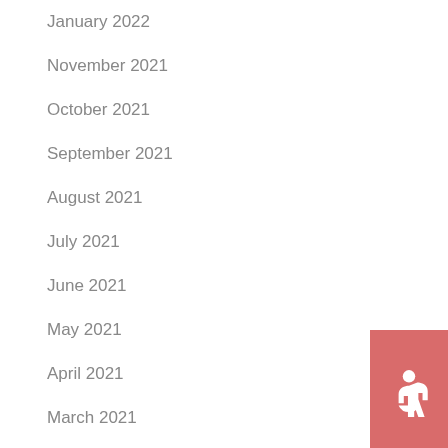January 2022
November 2021
October 2021
September 2021
August 2021
July 2021
June 2021
May 2021
April 2021
March 2021
February 2021
[Figure (infographic): Accessibility icon button (wheelchair symbol) in salmon/coral red color, positioned at right side of page]
[Figure (infographic): Scroll to top button with upward chevron arrow in gray, positioned at right side of page]